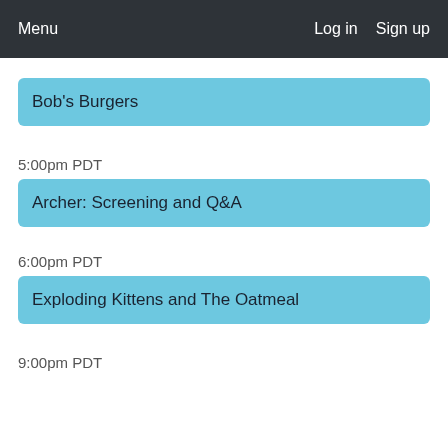Menu   Log in   Sign up
Bob's Burgers
5:00pm PDT
Archer: Screening and Q&A
6:00pm PDT
Exploding Kittens and The Oatmeal
9:00pm PDT